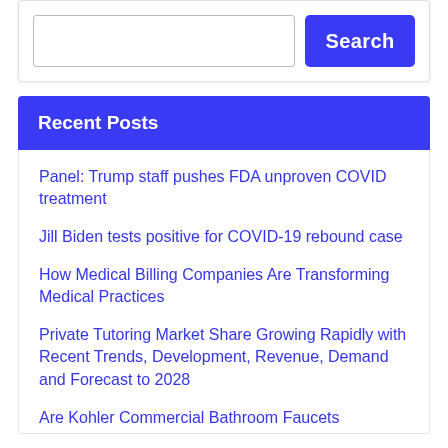Search
Recent Posts
Panel: Trump staff pushes FDA unproven COVID treatment
Jill Biden tests positive for COVID-19 rebound case
How Medical Billing Companies Are Transforming Medical Practices
Private Tutoring Market Share Growing Rapidly with Recent Trends, Development, Revenue, Demand and Forecast to 2028
Are Kohler Commercial Bathroom Faucets